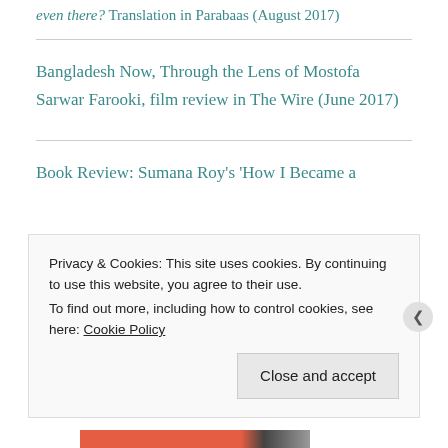even there? Translation in Parabaas (August 2017)
Bangladesh Now, Through the Lens of Mostofa Sarwar Farooki, film review in The Wire (June 2017)
Book Review: Sumana Roy's 'How I Became a
Privacy & Cookies: This site uses cookies. By continuing to use this website, you agree to their use. To find out more, including how to control cookies, see here: Cookie Policy
Close and accept